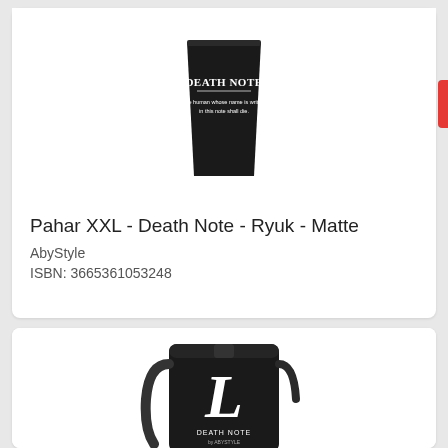[Figure (photo): Black matte XXL cup with Death Note logo and text on it]
Pahar XXL - Death Note - Ryuk - Matte
AbyStyle
ISBN: 3665361053248
[Figure (photo): Black crossbody bag with large white L letter and Death Note branding]